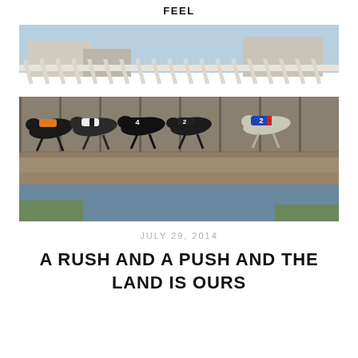FEEL
[Figure (photo): Greyhounds racing out of starting boxes at a greyhound racing track. Multiple dogs wearing numbered racing jackets (numbers 2, 4 visible) burst from the starting gates. The gates are white metal structures. Track surface is dirt/sand with grass visible in foreground.]
JULY 29, 2014
A RUSH AND A PUSH AND THE LAND IS OURS